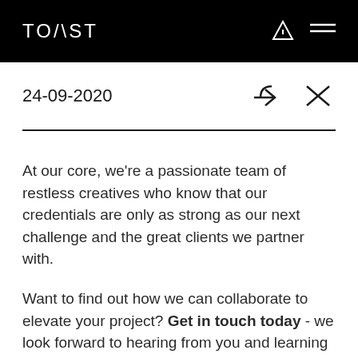TOAST
24-09-2020
At our core, we're a passionate team of restless creatives who know that our credentials are only as strong as our next challenge and the great clients we partner with.
Want to find out how we can collaborate to elevate your project? Get in touch today - we look forward to hearing from you and learning